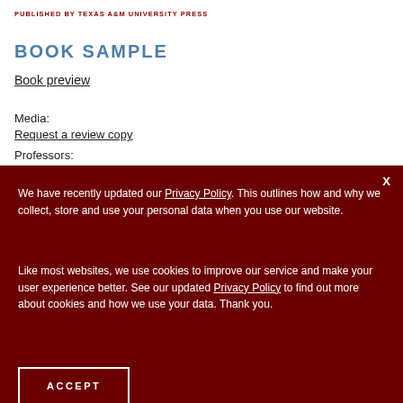PUBLISHED BY TEXAS A&M UNIVERSITY PRESS
BOOK SAMPLE
Book preview
Media:
Request a review copy
Professors:
We have recently updated our Privacy Policy. This outlines how and why we collect, store and use your personal data when you use our website.
Like most websites, we use cookies to improve our service and make your user experience better. See our updated Privacy Policy to find out more about cookies and how we use your data. Thank you.
ACCEPT